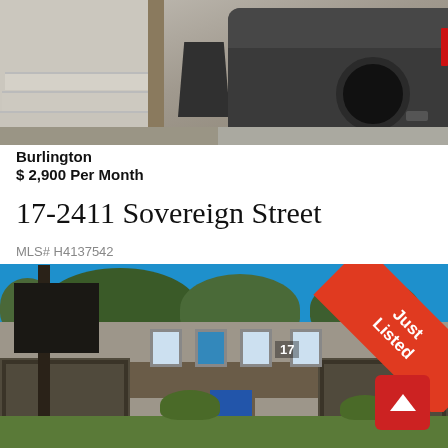[Figure (photo): Exterior photo showing concrete stairs, decorative planters, tree trunk, and rear of a dark grey car parked in driveway]
Burlington
$ 2,900 Per Month
17-2411 Sovereign Street
MLS# H4137542
[Figure (photo): Exterior front view of a townhouse complex at 17-2411 Sovereign Street in Burlington, showing brick and siding facade, blue front door, garages, green trees, blue sky, and a Just Listed ribbon banner in the top right corner]